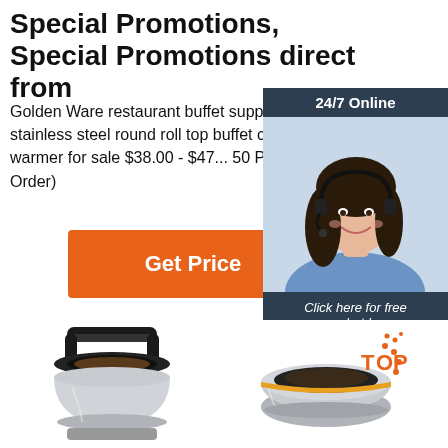Special Promotions, Special Promotions direct from
Golden Ware restaurant buffet supplies 10L 201# stainless steel round roll top buffet chafing dish food warmer for sale $38.00 - $47... 50 Pieces (Min. Order)
[Figure (other): Orange 'Get Price' button]
[Figure (photo): 24/7 Online chat widget with woman wearing headset, 'Click here for free chat!' text and orange QUOTATION button]
[Figure (photo): Stainless steel buffet chafing dish food warmer product photo - left]
[Figure (photo): Stainless steel buffet chafing dish food warmer product photo - right with TOP badge]